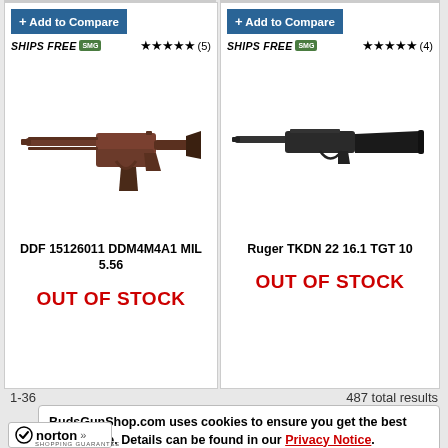[Figure (screenshot): Product card for DDF 15126011 DDM4M4A1 MIL 5.56 rifle shown in bronze/dark earth color, AR-15 style with folding stock]
+ Add to Compare
SHIPS FREE SMG ★★★★★ (5)
DDF 15126011 DDM4M4A1 MIL 5.56
OUT OF STOCK
[Figure (screenshot): Product card for Ruger TKDN 22 16.1 TGT 10 rifle shown in black, semi-automatic .22 rimfire style]
+ Add to Compare
SHIPS FREE SMG ★★★★★ (4)
Ruger TKDN 22 16.1 TGT 10
OUT OF STOCK
1-36
487 total results
BudsGunShop.com uses cookies to ensure you get the best experience. Details can be found in our Privacy Notice. Got It!